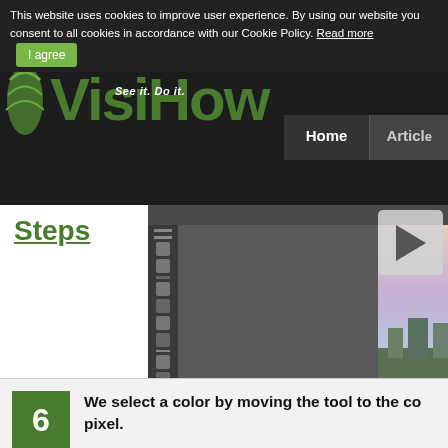This website uses cookies to improve user experience. By using our website you consent to all cookies in accordance with our Cookie Policy. Read more | I agree
[Figure (screenshot): VisiHow website navigation bar with logo showing stylized leaf icon and 'VisiHow' text, slogan 'See it. Do it.', Home and Articles nav links]
Steps
[Figure (screenshot): Screenshot of Adobe Photoshop showing a London cityscape with River Thames, bridges, and city skyline. Photoshop toolbox visible on left, dark panel area, Windows taskbar at bottom with various application icons.]
6  We select a color by moving the tool to the co... pixel.